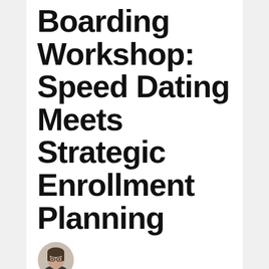Boarding Workshop: Speed Dating Meets Strategic Enrollment Planning
[Figure (photo): Circular headshot photo of Heather Hoerle, a woman with glasses and dark hair]
By HEATHER HOERLE